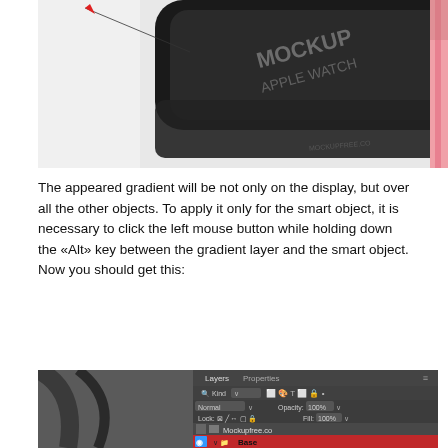[Figure (photo): Photo of an Apple Watch mockup with a dark display showing 'MOCKUP APPLE WATCH' text and a pink band visible on the right side, with a diagonal line annotation pointing to the display area.]
The appeared gradient will be not only on the display, but over all the other objects. To apply it only for the smart object, it is necessary to click the left mouse button while holding down the «Alt» key between the gradient layer and the smart object. Now you should get this:
[Figure (screenshot): Screenshot of Adobe Photoshop Layers panel showing layers including 'Mockupfree.co' and 'Base' with a red highlight on the Base layer group, and various Photoshop interface elements like Kind filter, Normal blend mode, Opacity 100%, Fill 100%.]